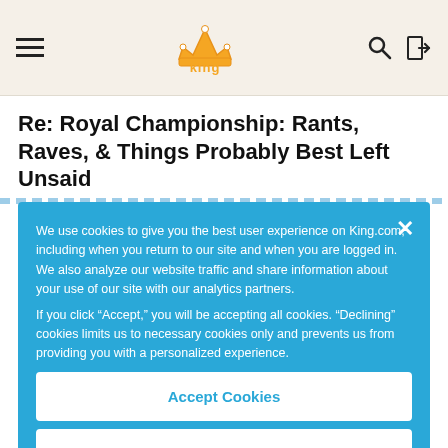King.com — navigation header with hamburger menu, King logo, search icon, and login icon
Re: Royal Championship: Rants, Raves, & Things Probably Best Left Unsaid
We use cookies to give you the best user experience on King.com, including when you return to our site and when you are logged in. We also analyze our website traffic and share information about your use of our site with our analytics partners.
If you click "Accept," you will be accepting all cookies. "Declining" cookies limits us to necessary cookies only and prevents us from providing you with a personalized experience.
Accept Cookies
Decline
Cookies Settings